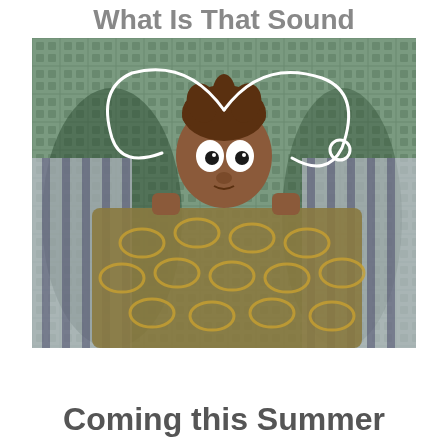What Is That Sound
[Figure (photo): A puppet or handmade doll character lying in bed with wide eyes and messy brown hair, covered by a patterned blanket with oval shapes. The background is a green/teal grid-patterned fabric. White wire loops extend from the puppet's head like antennae or a halo.]
Coming this Summer